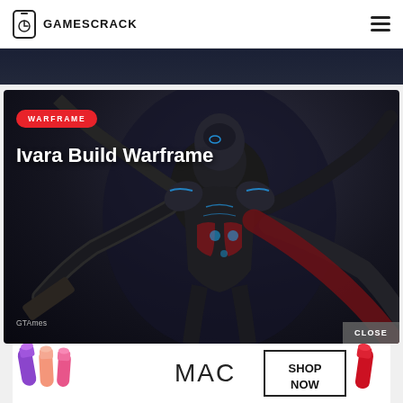GAMESCRACK
[Figure (photo): Warframe Ivara character artwork — a robotic female figure with blue glowing accents, dark armor with red highlights, holding weapons, on dark background. Badge label 'WARFRAME' in red pill shape. Title 'Ivara Build Warframe' in white bold text. Author credit 'GTAmes' at bottom left. 'CLOSE' button at bottom right.]
[Figure (photo): MAC Cosmetics advertisement banner showing lipsticks (purple, pink shades) with 'MAC' logo and 'SHOP NOW' box on right, red lipstick on far right.]